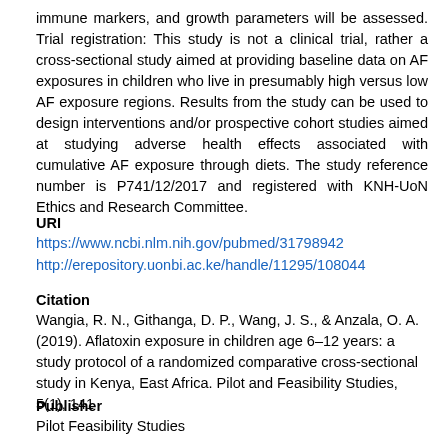immune markers, and growth parameters will be assessed. Trial registration: This study is not a clinical trial, rather a cross-sectional study aimed at providing baseline data on AF exposures in children who live in presumably high versus low AF exposure regions. Results from the study can be used to design interventions and/or prospective cohort studies aimed at studying adverse health effects associated with cumulative AF exposure through diets. The study reference number is P741/12/2017 and registered with KNH-UoN Ethics and Research Committee.
URI
https://www.ncbi.nlm.nih.gov/pubmed/31798942
http://erepository.uonbi.ac.ke/handle/11295/108044
Citation
Wangia, R. N., Githanga, D. P., Wang, J. S., & Anzala, O. A. (2019). Aflatoxin exposure in children age 6–12 years: a study protocol of a randomized comparative cross-sectional study in Kenya, East Africa. Pilot and Feasibility Studies, 5(1), 141
Publisher
Pilot Feasibility Studies